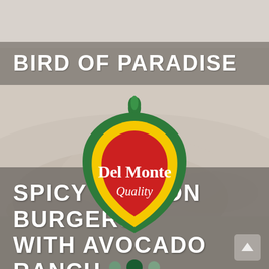BIRD OF PARADISE
[Figure (logo): Del Monte Quality logo — red heart-shaped shield with green border and yellow inner border, 'Del Monte' in white serif bold lettering, 'Quality' in white italic script below, green leaf at top, registered trademark symbol]
[Figure (other): Three navigation indicator dots — left dot medium green, center dot dark green (active/selected), right dot medium green]
SPICY SALMON BURGERS WITH AVOCADO RANCH
[Figure (other): Back to top arrow button in bottom right corner]